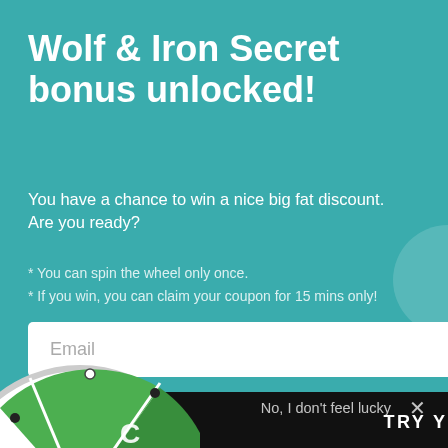Wolf & Iron Secret bonus unlocked!
You have a chance to win a nice big fat discount. Are you ready?
* You can spin the wheel only once.
* If you win, you can claim your coupon for 15 mins only!
[Figure (other): Email input field with placeholder text 'Email']
[Figure (other): Black button labeled 'TRY YOUR LUCK']
[Figure (illustration): Gift box icon in white, top right area]
[Figure (illustration): Partial spin wheel visible at bottom left corner, green and white]
No, I don't feel lucky  ×